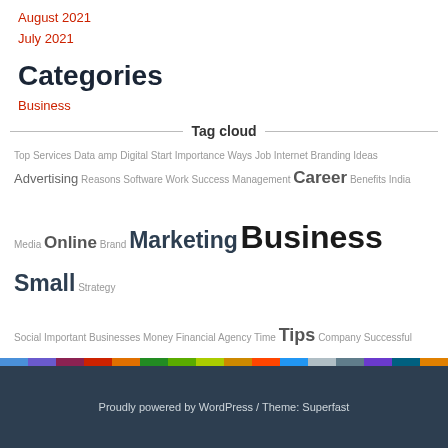August 2021
July 2021
Categories
Business
Tag cloud
Top Services Data amp Digital Start Importance Ways Job Internet Branding Ideas Advertising Reasons Software Work Success Management Career Benefits India Media Online Brand Marketing Business Small Strategy Social Important Businesses Money Financial Agency Time Tips Company Successful Outsourcing Advantages Development Resume Payroll Home Accounting
Proudly powered by WordPress / Theme: Superfast